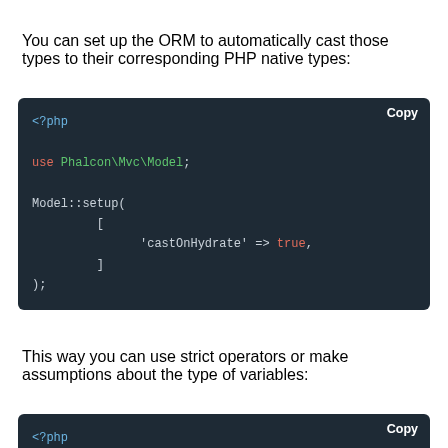You can set up the ORM to automatically cast those types to their corresponding PHP native types:
[Figure (screenshot): PHP code block showing Model::setup(['castOnHydrate' => true]);]
This way you can use strict operators or make assumptions about the type of variables:
[Figure (screenshot): PHP code block showing $invoice = Invoices::findFirst();]